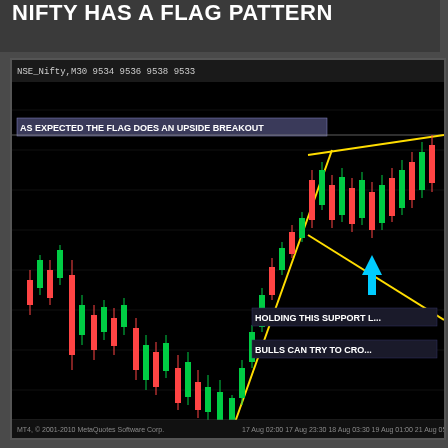NIFTY HAS A FLAG PATTERN
[Figure (screenshot): Candlestick chart of NSE Nifty on MT4 platform showing a flag pattern with yellow triangle boundaries, green and red candlesticks, annotation 'AS EXPECTED THE FLAG DOES AN UPSIDE BREAKOUT', cyan upward arrow, annotations 'HOLDING THIS SUPPORT L...' and 'BULLS CAN TRY TO CRO...'. X-axis shows dates from 13 Aug 2010 to 23 Aug. Footer shows MT4 copyright MetaQuotes Software Corp.]